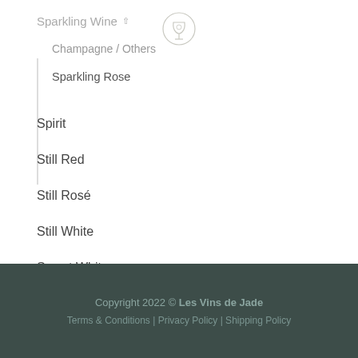[Figure (logo): Circular logo with a wine glass icon and circular text, in light gray outline style]
Sparkling Wine
Champagne / Others
Sparkling Rose
Spirit
Still Red
Still Rosé
Still White
Sweet White
Copyright 2022 © Les Vins de Jade
Terms & Conditions | Privacy Policy | Shipping Policy